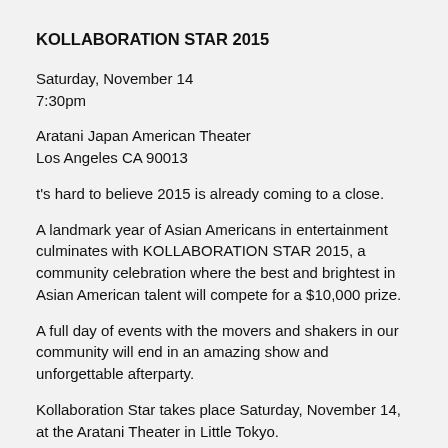KOLLABORATION STAR 2015
Saturday, November 14
7:30pm
Aratani Japan American Theater
Los Angeles CA 90013
t's hard to believe 2015 is already coming to a close.
A landmark year of Asian Americans in entertainment culminates with KOLLABORATION STAR 2015, a community celebration where the best and brightest in Asian American talent will compete for a $10,000 prize.
A full day of events with the movers and shakers in our community will end in an amazing show and unforgettable afterparty.
Kollaboration Star takes place Saturday, November 14, at the Aratani Theater in Little Tokyo.